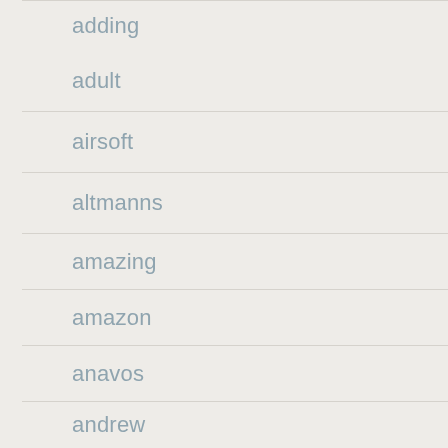adding
adult
airsoft
altmanns
amazing
amazon
anavos
andrew
anovos
anthony